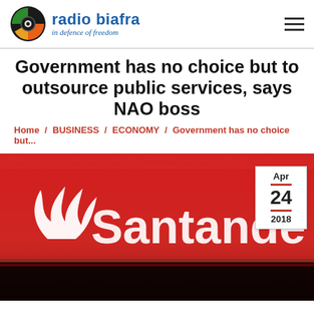Radio Biafra — in defence of freedom
Government has no choice but to outsource public services, says NAO boss
Home / BUSINESS / ECONOMY / Government has no choice but...
[Figure (photo): Santander bank red signage with white flame logo text, partially cropped. Date badge overlay showing Apr 24 2018.]